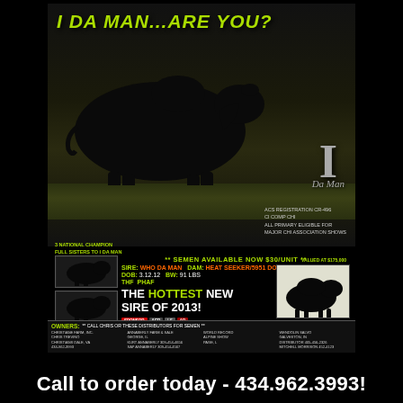[Figure (advertisement): Black bull livestock advertisement for 'I Da Man' sire with photo of bull, thumbnail photos of national champion full sisters, semen availability info, and owner/distributor contact details]
Call to order today - 434.962.3993!